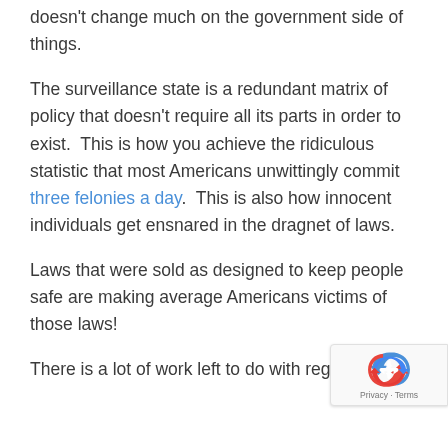doesn't change much on the government side of things.
The surveillance state is a redundant matrix of policy that doesn't require all its parts in order to exist.  This is how you achieve the ridiculous statistic that most Americans unwittingly commit three felonies a day.  This is also how innocent individuals get ensnared in the dragnet of laws.
Laws that were sold as designed to keep people safe are making average Americans victims of those laws!
There is a lot of work left to do with regards to